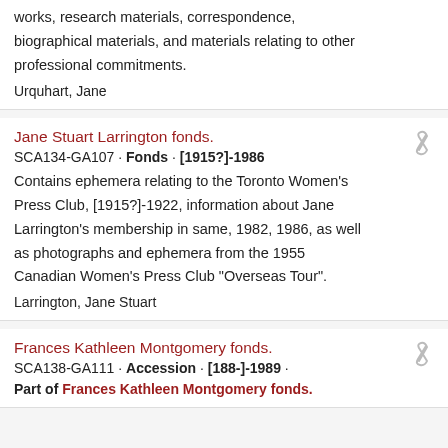works, research materials, correspondence, biographical materials, and materials relating to other professional commitments.
Urquhart, Jane
Jane Stuart Larrington fonds.
SCA134-GA107 · Fonds · [1915?]-1986
Contains ephemera relating to the Toronto Women's Press Club, [1915?]-1922, information about Jane Larrington's membership in same, 1982, 1986, as well as photographs and ephemera from the 1955 Canadian Women's Press Club "Overseas Tour".
Larrington, Jane Stuart
Frances Kathleen Montgomery fonds.
SCA138-GA111 · Accession · [188-]-1989 ·
Part of Frances Kathleen Montgomery fonds.